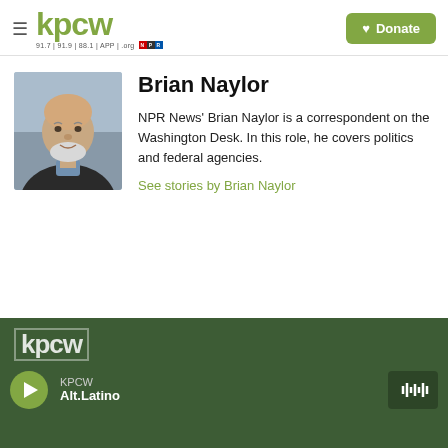KPCW — kpcw 91.7 | 91.9 | 88.1 | APP | .org — Donate
[Figure (photo): Headshot photo of Brian Naylor, a bald older man with a white beard wearing a dark jacket]
Brian Naylor
NPR News' Brian Naylor is a correspondent on the Washington Desk. In this role, he covers politics and federal agencies.
See stories by Brian Naylor
KPCW — Alt.Latino (player bar)